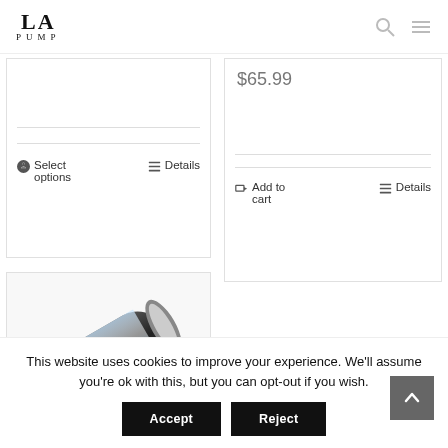LA PUMP
Select options
Details
$65.99
Add to cart
Details
[Figure (photo): A cylindrical pump product (LA Pump) shown at an angle on white background]
This website uses cookies to improve your experience. We'll assume you're ok with this, but you can opt-out if you wish.
Accept
Reject